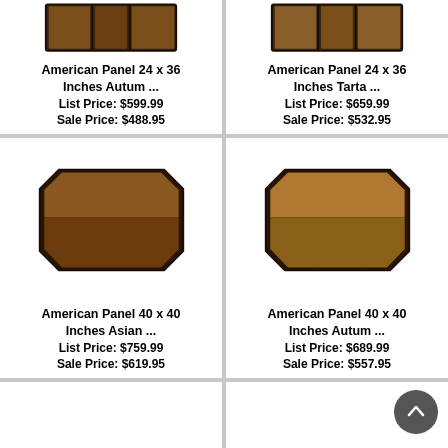[Figure (photo): American Panel 24x36 Autum fireplace panel - rectangular dark brown tiled panel, partially cropped at top]
American Panel 24 x 36 Inches Autum ...
List Price: $599.99
Sale Price: $488.95
[Figure (photo): American Panel 24x36 Tarta fireplace panel - partially cropped at top]
American Panel 24 x 36 Inches Tarta ...
List Price: $659.99
Sale Price: $532.95
[Figure (photo): American Panel 40x40 Asian fireplace panel - octagonal-shaped dark brown stone tile panel]
American Panel 40 x 40 Inches Asian ...
List Price: $759.99
Sale Price: $619.95
[Figure (photo): American Panel 40x40 Autum fireplace panel - octagonal-shaped brown stone tile panel]
American Panel 40 x 40 Inches Autum ...
List Price: $689.99
Sale Price: $557.95
[Figure (photo): American Panel bottom-left - light beige/cream octagonal fireplace panel]
[Figure (photo): American Panel bottom-right - dark charcoal/black octagonal fireplace panel]